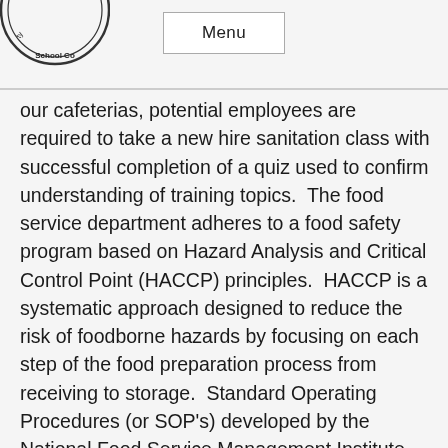[Figure (logo): Circular school district logo partially visible, showing 'School Co' text around the edge]
Menu
our cafeterias, potential employees are required to take a new hire sanitation class with successful completion of a quiz used to confirm understanding of training topics.  The food service department adheres to a food safety program based on Hazard Analysis and Critical Control Point (HACCP) principles.  HACCP is a systematic approach designed to reduce the risk of foodborne hazards by focusing on each step of the food preparation process from receiving to storage.  Standard Operating Procedures (or SOP's) developed by the National Food Service Management Institute are used to make this